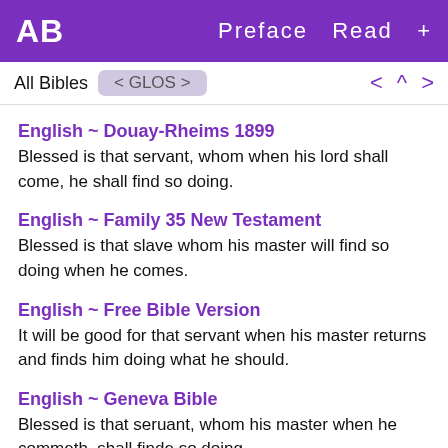AB  Preface  Read  +
All Bibles  < GLOS >  < ^ >
English ~ Douay-Rheims 1899
Blessed is that servant, whom when his lord shall come, he shall find so doing.
English ~ Family 35 New Testament
Blessed is that slave whom his master will find so doing when he comes.
English ~ Free Bible Version
It will be good for that servant when his master returns and finds him doing what he should.
English ~ Geneva Bible
Blessed is that seruant, whom his master when he commeth, shall finde so doing.